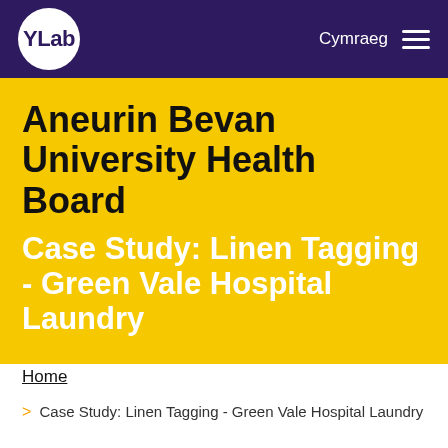YLab | Cymraeg
Aneurin Bevan University Health Board
Case Study: Linen Tagging - Green Vale Hospital Laundry
Home
> Case Study: Linen Tagging - Green Vale Hospital Laundry